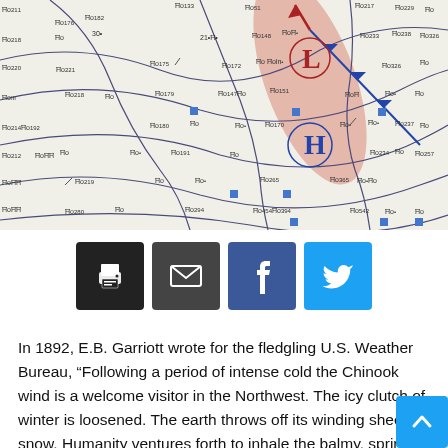[Figure (map): Historical weather map showing isobars, station data, pressure readings, a high pressure center (H), weather fronts with red shaded area indicating warm region and blue triangular cold front symbols. Station models with wind barbs and pressure values scattered across the map.]
[Figure (infographic): Four social sharing buttons: print (black), email (dark gray), Facebook (blue), Twitter (cyan)]
In 1892, E.B. Garriott wrote for the fledgling U.S. Weather Bureau, “Following a period of intense cold the Chinook wind is a welcome visitor in the Northwest. The icy clutch of winter is loosened. The earth throws off its winding sheet of snow. Humanity ventures forth to inhale the balmy, spring-like air. Animate nature rejoices.”